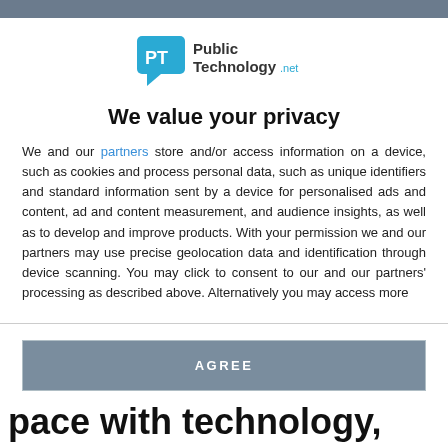[Figure (logo): PublicTechnology.net logo — speech bubble icon with 'PT' and text 'Public Technology.net']
We value your privacy
We and our partners store and/or access information on a device, such as cookies and process personal data, such as unique identifiers and standard information sent by a device for personalised ads and content, ad and content measurement, and audience insights, as well as to develop and improve products. With your permission we and our partners may use precise geolocation data and identification through device scanning. You may click to consent to our and our partners' processing as described above. Alternatively you may access more detailed information…
AGREE
MORE OPTIONS
pace with technology, says